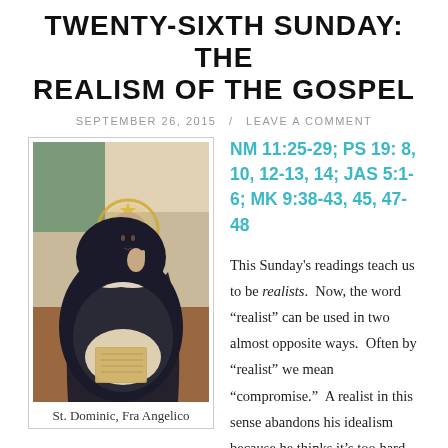TWENTY-SIXTH SUNDAY: THE REALISM OF THE GOSPEL
SEPTEMBER 26, 2015 / LEAVE A COMMENT
[Figure (illustration): Painting of St. Dominic seated in contemplation, wearing a black and white Dominican habit, with a halo, reading a book. Painted by Fra Angelico.]
St. Dominic, Fra Angelico
NM 11:25-29; PS 19: 8, 10, 12-13, 14; JAS 5:1-6; MK 9:38-43, 45, 47-48
This Sunday's readings teach us to be realists. Now, the word “realist” can be used in two almost opposite ways. Often by “realist” we mean “compromise.” A realist in this sense abandons his idealism because he thinks it’s too hard to live. The Gospel is “unrealistic” in this